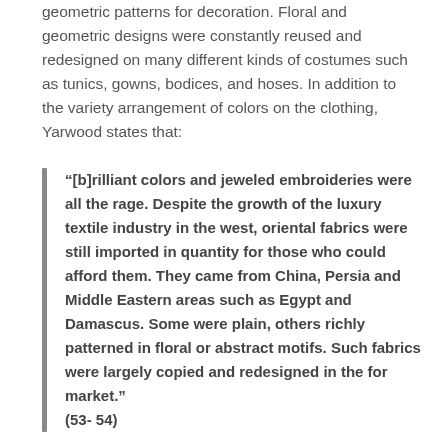geometric patterns for decoration. Floral and geometric designs were constantly reused and redesigned on many different kinds of costumes such as tunics, gowns, bodices, and hoses. In addition to the variety arrangement of colors on the clothing, Yarwood states that:
“[b]rilliant colors and jeweled embroideries were all the rage. Despite the growth of the luxury textile industry in the west, oriental fabrics were still imported in quantity for those who could afford them. They came from China, Persia and Middle Eastern areas such as Egypt and Damascus. Some were plain, others richly patterned in floral or abstract motifs. Such fabrics were largely copied and redesigned in the for market.” (53- 54)